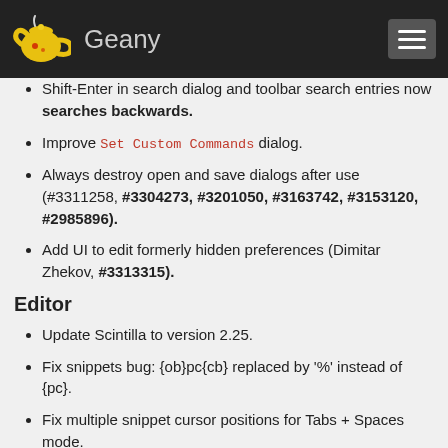Geany
Shift-Enter in search dialog and toolbar search entries now searches backwards.
Improve Set Custom Commands dialog.
Always destroy open and save dialogs after use (#3311258, #3304273, #3201050, #3163742, #3153120, #2985896).
Add UI to edit formerly hidden preferences (Dimitar Zhekov, #3313315).
Editor
Update Scintilla to version 2.25.
Fix snippets bug: {ob}pc{cb} replaced by '%' instead of {pc}.
Fix multiple snippet cursor positions for Tabs + Spaces mode.
Avoid triggering autocompletion on PHP open tags (#3199442).
Fix indentation brace matching (#3309606).